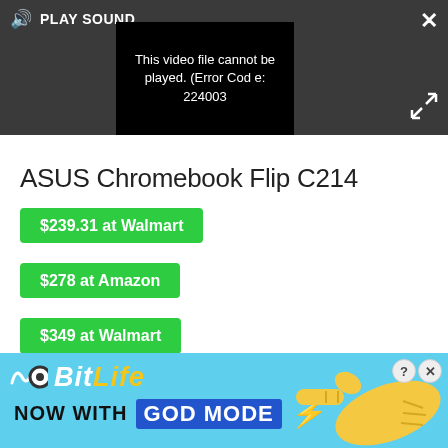[Figure (screenshot): Video player UI with dark grey background showing a video error message. Controls bar at top left shows speaker/volume icon and 'PLAY SOUND' text. Top right shows an X close button. Bottom right shows an expand/resize icon. Center shows a black video frame with white text reading 'This video file cannot be played. (Error Code: 224003']
ASUS Chromebook Flip C214
$239.31 at Walmart
$278 at Amazon
$349 at Walmart
[Figure (screenshot): BitLife game advertisement banner with light blue background. Shows BitLife logo with squiggle and circle icons, 'NOW WITH GOD MODE' text with blue box, yellow lightning bolt, and a hand pointing gesture illustration on the right side. Has close/question mark buttons in top right corner.]